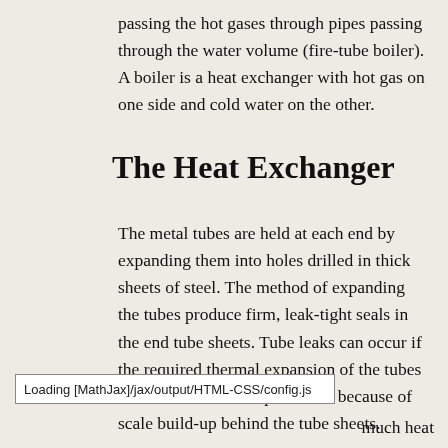passing the hot gases through pipes passing through the water volume (fire-tube boiler). A boiler is a heat exchanger with hot gas on one side and cold water on the other.
The Heat Exchanger
The metal tubes are held at each end by expanding them into holes drilled in thick sheets of steel. The method of expanding the tubes produce firm, leak-tight seals in the end tube sheets. Tube leaks can occur if the required thermal expansion of the tubes and the tube sheet is prevented because of scale build-up behind the tube sheets.
Loading [MathJax]/jax/output/HTML-CSS/config.js
much heat